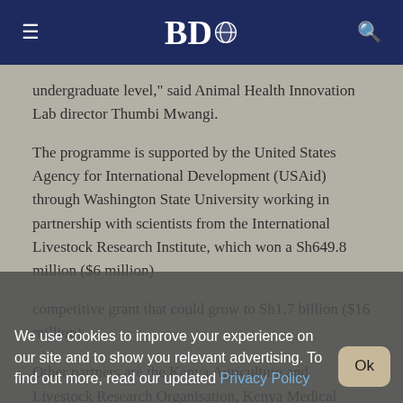BDO (with globe icon), hamburger menu, search icon
undergraduate level," said Animal Health Innovation Lab director Thumbi Mwangi.
The programme is supported by the United States Agency for International Development (USAid) through Washington State University working in partnership with scientists from the International Livestock Research Institute, which won a Sh649.8 million ($6 million)
competitive grant that could grow to Sh1.7 billion ($16 million).
Other partners are the Kenya Agriculture and Livestock Research Organisation, Kenya Medical
We use cookies to improve your experience on our site and to show you relevant advertising. To find out more, read our updated Privacy Policy